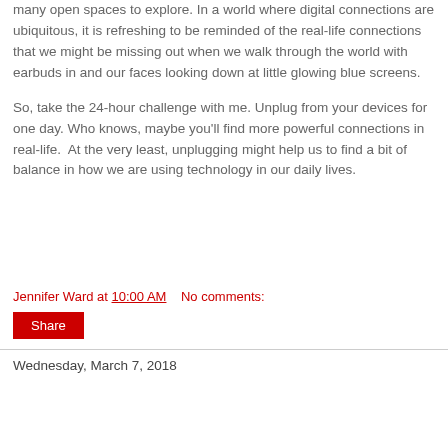many open spaces to explore. In a world where digital connections are ubiquitous, it is refreshing to be reminded of the real-life connections that we might be missing out when we walk through the world with earbuds in and our faces looking down at little glowing blue screens.
So, take the 24-hour challenge with me. Unplug from your devices for one day. Who knows, maybe you'll find more powerful connections in real-life.  At the very least, unplugging might help us to find a bit of balance in how we are using technology in our daily lives.
Jennifer Ward at 10:00 AM    No comments:
Share
Wednesday, March 7, 2018